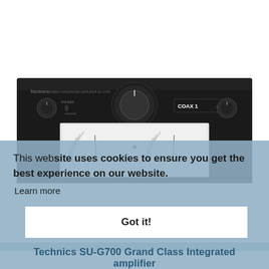[Figure (photo): Front panel of a Technics SU-G700 Grand Class Integrated Amplifier, black color, showing knobs, display, headphone jack, and VU meters]
This website uses cookies to ensure you get the best experience on our website.
Learn more
Got it!
Technics SU-G700 Grand Class Integrated amplifier